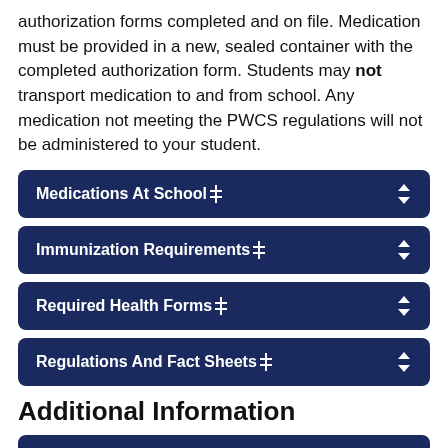authorization forms completed and on file. Medication must be provided in a new, sealed container with the completed authorization form. Students may not transport medication to and from school. Any medication not meeting the PWCS regulations will not be administered to your student.
Medications At School
Immunization Requirements
Required Health Forms
Regulations And Fact Sheets
Additional Information
When Students Should Be Absent Due To Illness